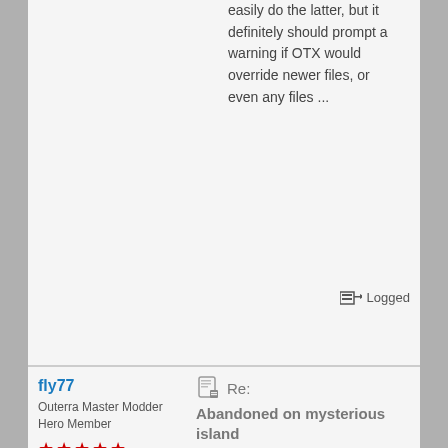easily do the latter, but it definitely should prompt a warning if OTX would override newer files, or even any files ...
Logged
fly77
Outerra Master Modder
Hero Member
Posts: 1648
Re: Abandoned on mysterious island
« Reply #8 on: January 30, 2019, 03:10:14 pm »
is there a way to prompt such warning messages when clicking on a otx file ? or is there a way to create an installer that launches the otx